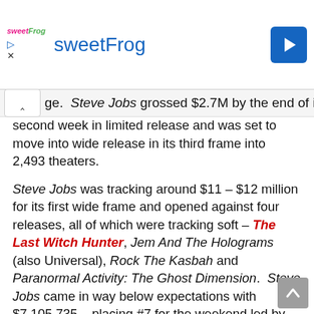[Figure (screenshot): sweetFrog advertisement banner with logo, navigation arrows, title text, and blue directional arrow icon]
je. Steve Jobs grossed $2.7M by the end of its second week in limited release and was set to move into wide release in its third frame into 2,493 theaters.
Steve Jobs was tracking around $11 – $12 million for its first wide frame and opened against four releases, all of which were tracking soft – The Last Witch Hunter, Jem And The Holograms (also Universal), Rock The Kasbah and Paranormal Activity: The Ghost Dimension. Steve Jobs came in way below expectations with $7,105,735 – placing #7 for the weekend led by the holdover The Martian. Even with rave reviews and a solid A-cinemascore from audiences, the film surprisingly took a 62.1% nosedive in its second wide weekend to $2,691,360. Steve Jobs promptly lost most of its theater count and it was completely out of release before the award season even began. The domestic cume was a terrible $17,766,658. Even with high audience awareness, a blockbuster budget for